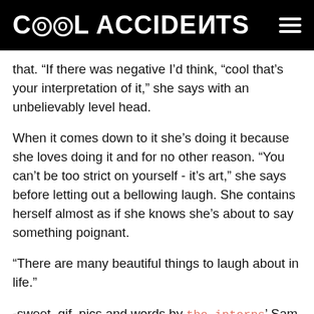Cool Accidents
that. “If there was negative I’d think, “cool that’s your interpretation of it,” she says with an unbelievably level head.
When it comes down to it she’s doing it because she loves doing it and for no other reason. “You can’t be too strict on yourself - it’s art,” she says before letting out a bellowing laugh. She contains herself almost as if she knows she’s about to say something poignant.
“There are many beautiful things to laugh about in life.”
-sweet .gif, pics and words by the interns’ Sam Murphy and Bianca Bosso